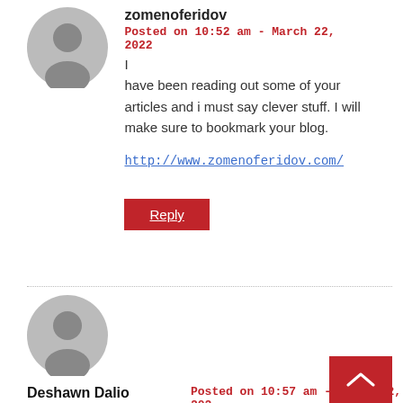zomenoferidov
Posted on 10:52 am - March 22, 2022
I have been reading out some of your articles and i must say clever stuff. I will make sure to bookmark your blog.
http://www.zomenoferidov.com/
Reply
Deshawn Dalio
Posted on 10:57 am - March 22, 202
Awesome article.|